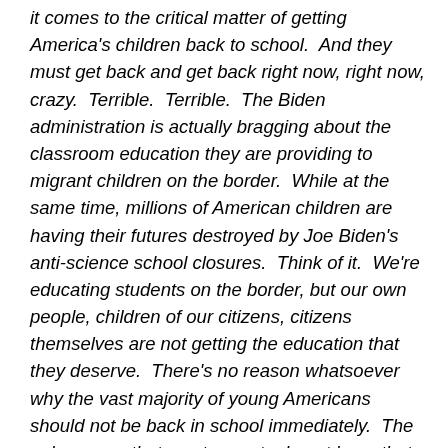it comes to the critical matter of getting America's children back to school.  And they must get back and get back right now, right now, crazy.  Terrible.  Terrible.  The Biden administration is actually bragging about the classroom education they are providing to migrant children on the border.  While at the same time, millions of American children are having their futures destroyed by Joe Biden's anti-science school closures.  Think of it.  We're educating students on the border, but our own people, children of our citizens, citizens themselves are not getting the education that they deserve.  There's no reason whatsoever why the vast majority of young Americans should not be back in school immediately.  The only reason that most parents do not have that choice is because Joe Biden has sold out America's children to the teacher's unions.  His position is morally inexcusable.  You know that.  Joe Biden has